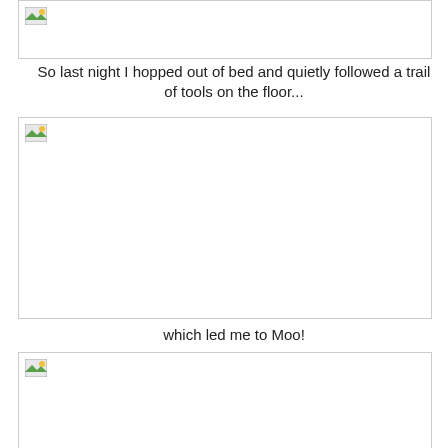[Figure (photo): Image placeholder at top of page (partially visible, cropped)]
So last night I hopped out of bed and quietly followed a trail of tools on the floor...
[Figure (photo): Image placeholder showing a scene related to tools on the floor]
which led me to Moo!
[Figure (photo): Image placeholder showing Moo (partially visible, cropped at bottom)]